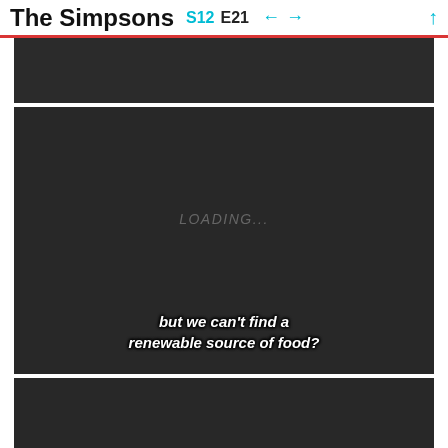The Simpsons S12 E21 ← → ↑
[Figure (screenshot): Dark video player panel (top, partially visible)]
[Figure (screenshot): Dark video player panel with LOADING... text in center and subtitle text 'but we can't find a renewable source of food?' at bottom]
[Figure (screenshot): Dark video player panel (bottom, partially visible)]